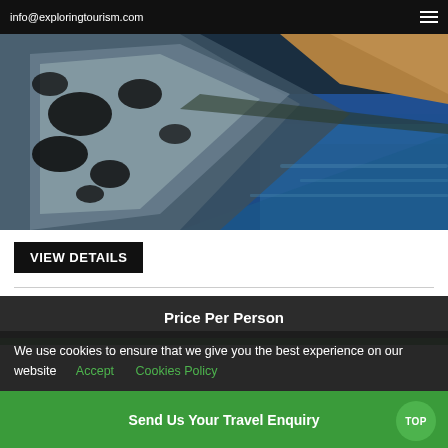info@exploringtourism.com
[Figure (photo): Coastal cliff scene with dark rocky formations against blue sea water, viewed from above at an angle]
VIEW DETAILS
Price Per Person
We use cookies to ensure that we give you the best experience on our website  Accept    Cookies Policy
Send Us Your Travel Enquiry